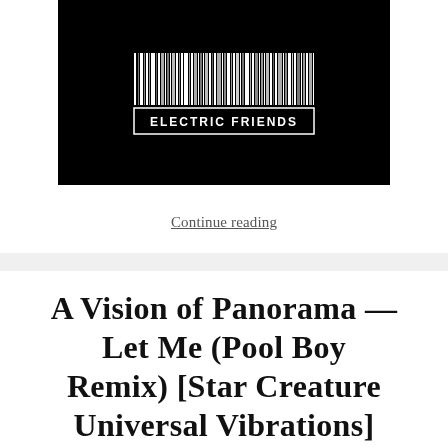[Figure (logo): Black rectangle with a barcode image and text 'ELECTRIC FRIENDS' below the barcode, white on black background.]
Continue reading
A Vision of Panorama — Let Me (Pool Boy Remix) [Star Creature Universal Vibrations]